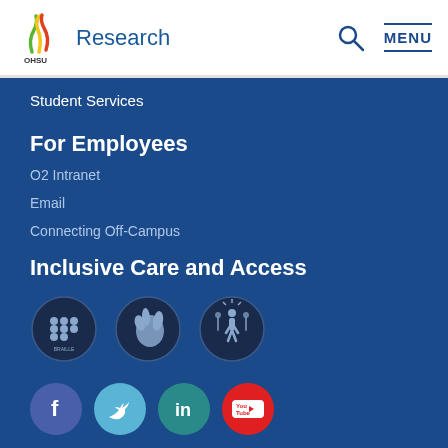Research
Student Services
For Employees
O2 Intranet
Email
Connecting Off-Campus
Inclusive Care and Access
[Figure (logo): Three accessibility icons: Braille, Sign Language, and Elevator/Accessibility]
[Figure (logo): Social media icons: Facebook, Twitter, LinkedIn, YouTube]